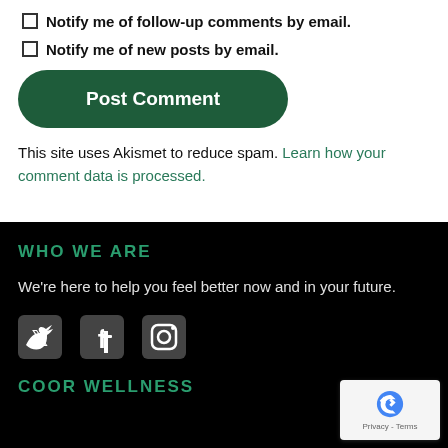Notify me of follow-up comments by email.
Notify me of new posts by email.
Post Comment
This site uses Akismet to reduce spam. Learn how your comment data is processed.
WHO WE ARE
We're here to help you feel better now and in your future.
[Figure (illustration): Social media icons: Twitter, Facebook, Instagram]
COOR WELLNESS